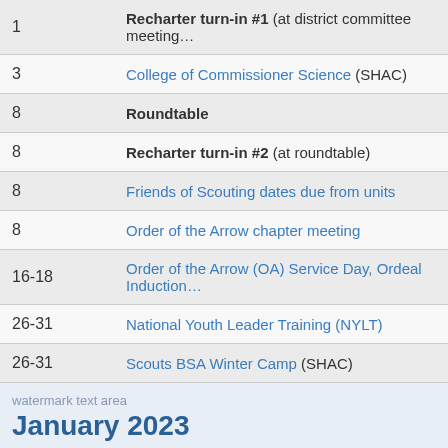| Day | Event |
| --- | --- |
| 1 | Recharter turn-in #1 (at district committee meeting… |
| 3 | College of Commissioner Science (SHAC) |
| 8 | Roundtable |
| 8 | Recharter turn-in #2 (at roundtable) |
| 8 | Friends of Scouting dates due from units |
| 8 | Order of the Arrow chapter meeting |
| 16-18 | Order of the Arrow (OA) Service Day, Ordeal Induction… |
| 26-31 | National Youth Leader Training (NYLT) |
| 26-31 | Scouts BSA Winter Camp (SHAC) |
January 2023
| Day | Event |
| --- | --- |
| 5 | District committee meeting / calendar planning meeti… |